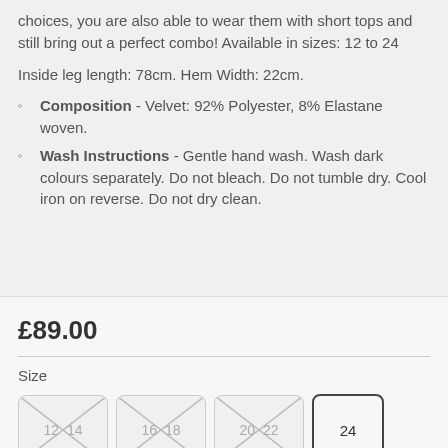choices, you are also able to wear them with short tops and still bring out a perfect combo! Available in sizes: 12 to 24
Inside leg length: 78cm. Hem Width: 22cm.
Composition - Velvet: 92% Polyester, 8% Elastane woven.
Wash Instructions - Gentle hand wash. Wash dark colours separately. Do not bleach. Do not tumble dry. Cool iron on reverse. Do not dry clean.
£89.00
Size
12  14  16  18  20  22  24